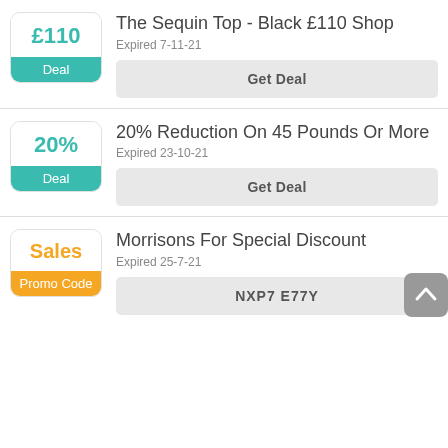The Sequin Top - Black £110 Shop
Expired 7-11-21
Get Deal
20% Reduction On 45 Pounds Or More
Expired 23-10-21
Get Deal
Morrisons For Special Discount
Expired 25-7-21
NXP7 E77Y